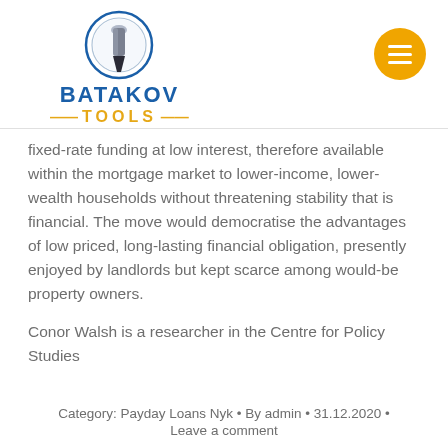[Figure (logo): Batakov Tools logo with circular drill bit icon above bold blue text BATAKOV and orange text TOOLS with dashes]
fixed-rate funding at low interest, therefore available within the mortgage market to lower-income, lower-wealth households without threatening stability that is financial. The move would democratise the advantages of low priced, long-lasting financial obligation, presently enjoyed by landlords but kept scarce among would-be property owners.
Conor Walsh is a researcher in the Centre for Policy Studies
Category: Payday Loans Nyk · By admin · 31.12.2020 · Leave a comment